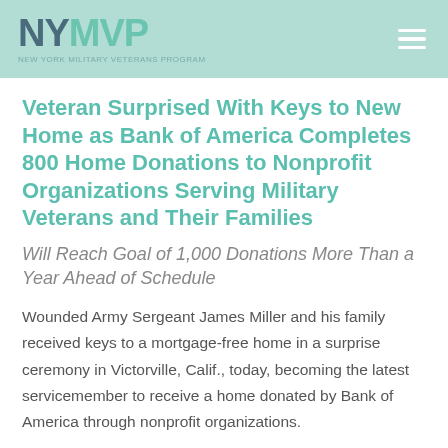NYMVP
Veteran Surprised With Keys to New Home as Bank of America Completes 800 Home Donations to Nonprofit Organizations Serving Military Veterans and Their Families
Will Reach Goal of 1,000 Donations More Than a Year Ahead of Schedule
Wounded Army Sergeant James Miller and his family received keys to a mortgage-free home in a surprise ceremony in Victorville, Calif., today, becoming the latest servicemember to receive a home donated by Bank of America through nonprofit organizations.
With today's donation, Bank of America has donated more than 800 homes to military veterans and first